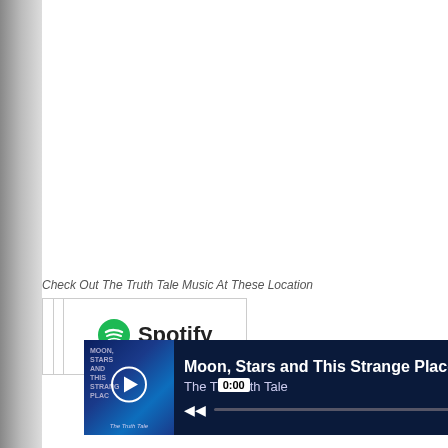[Figure (screenshot): Music player bar showing 'Moon, Stars and This Strange Place' by The Truth Tale with album art, play button, time 0:00 and progress bar on dark navy background]
Check Out The Truth Tale Music At These Location
[Figure (screenshot): Store badges: Download on iTunes, Apple Music, Google Play, and Spotify logos in a table grid]